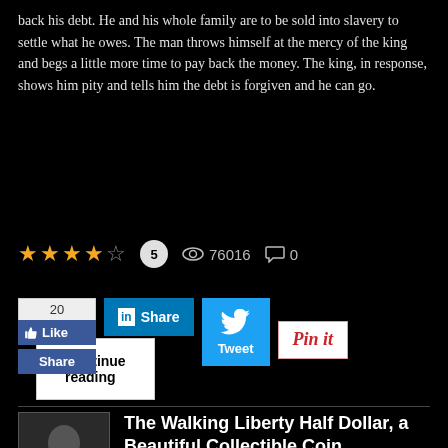back his debt. He and his whole family are to be sold into slavery to settle what he owes. The man throws himself at the mercy of the king and begs a little more time to pay back the money. The king, in response, shows him pity and tells him the debt is forgiven and he can go.
Continue reading
★★★★☆ 5   👁 76016   💬 0
20 Like Share  in Share  Tweet  Pin it
[Figure (screenshot): Author photo thumbnail - man in suit]
The Walking Liberty Half Dollar, a Beautiful Collectible Coin
Monday, 31 August 2020
Ben Soldaat
Coins, Coin History